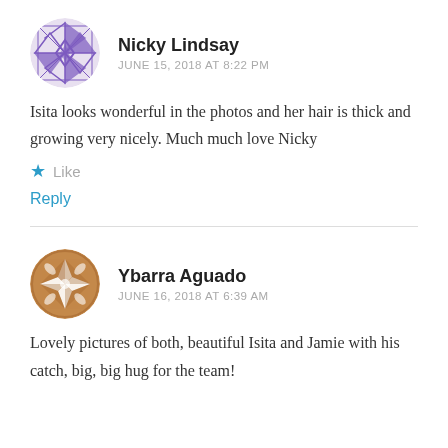[Figure (illustration): Purple geometric quilt-pattern avatar for Nicky Lindsay]
Nicky Lindsay
JUNE 15, 2018 AT 8:22 PM
Isita looks wonderful in the photos and her hair is thick and growing very nicely. Much much love Nicky
★ Like
Reply
[Figure (illustration): Brown geometric star-pattern avatar for Ybarra Aguado]
Ybarra Aguado
JUNE 16, 2018 AT 6:39 AM
Lovely pictures of both, beautiful Isita and Jamie with his catch, big, big hug for the team!